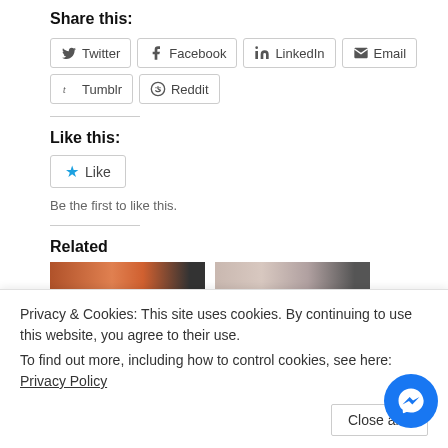Share this:
Twitter
Facebook
LinkedIn
Email
Tumblr
Reddit
Like this:
Like
Be the first to like this.
Related
[Figure (photo): Two related article thumbnail images shown side by side]
around L.A. –
CaliforniaGermans
Privacy & Cookies: This site uses cookies. By continuing to use this website, you agree to their use.
To find out more, including how to control cookies, see here: Privacy Policy
Close and